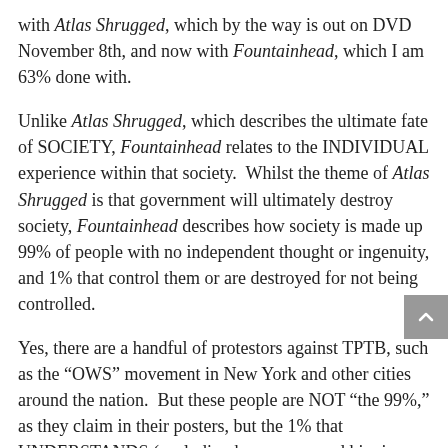with Atlas Shrugged, which by the way is out on DVD November 8th, and now with Fountainhead, which I am 63% done with.
Unlike Atlas Shrugged, which describes the ultimate fate of SOCIETY, Fountainhead relates to the INDIVIDUAL experience within that society.  Whilst the theme of Atlas Shrugged is that government will ultimately destroy society, Fountainhead describes how society is made up 99% of people with no independent thought or ingenuity, and 1% that control them or are destroyed for not being controlled.
Yes, there are a handful of protestors against TPTB, such as the “OWS” movement in New York and other cities around the nation.  But these people are NOT “the 99%,” as they claim in their posters, but the 1% that UNDERSTANDS (excluding hangers-on and hippies looking for a good time).  They realize Washington and Wall Street have destroyed America, and only seek